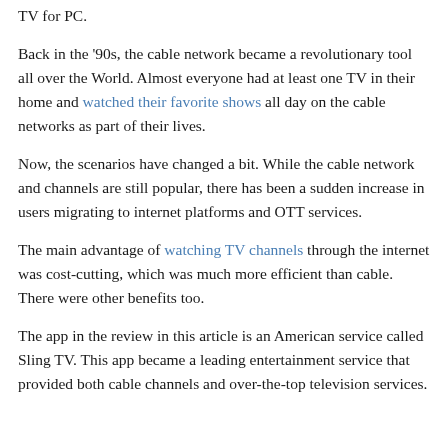TV for PC.
Back in the '90s, the cable network became a revolutionary tool all over the World. Almost everyone had at least one TV in their home and watched their favorite shows all day on the cable networks as part of their lives.
Now, the scenarios have changed a bit. While the cable network and channels are still popular, there has been a sudden increase in users migrating to internet platforms and OTT services.
The main advantage of watching TV channels through the internet was cost-cutting, which was much more efficient than cable. There were other benefits too.
The app in the review in this article is an American service called Sling TV. This app became a leading entertainment service that provided both cable channels and over-the-top television services.